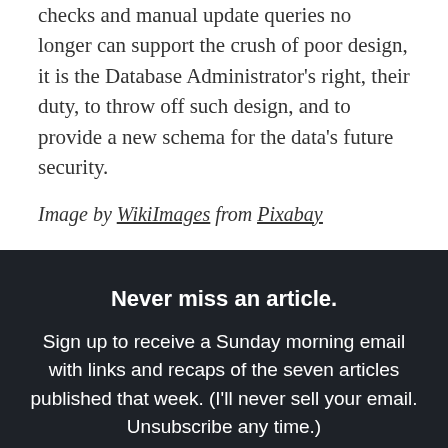checks and manual update queries no longer can support the crush of poor design, it is the Database Administrator's right, their duty, to throw off such design, and to provide a new schema for the data's future security.
Image by WikiImages from Pixabay
Never miss an article.
Sign up to receive a Sunday morning email with links and recaps of the seven articles published that week. (I'll never sell your email. Unsubscribe any time.)